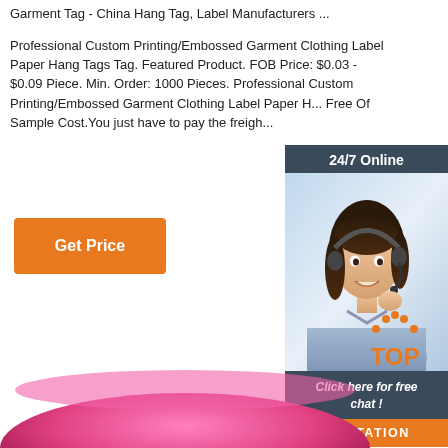Garment Tag - China Hang Tag, Label Manufacturers ...
Professional Custom Printing/Embossed Garment Clothing Label Paper Hang Tags Tag. Featured Product. FOB Price: $0.03 - $0.09 Piece. Min. Order: 1000 Pieces. Professional Custom Printing/Embossed Garment Clothing Label Paper H... Free Of Sample Cost.You just have to pay the freigh...
[Figure (other): Orange 'Get Price' button]
[Figure (illustration): 24/7 Online chat widget with photo of woman wearing headset, 'Click here for free chat!' text, and orange QUOTATION button]
[Figure (logo): TOP logo with orange dots forming an arc above the word TOP in orange]
[Figure (photo): Pink bowl or hat, partially visible at bottom of page]